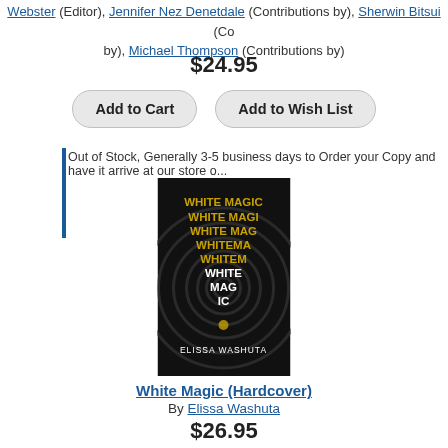Webster (Editor), Jennifer Nez Denetdale (Contributions by), Sherwin Bitsui (Contributions by), Michael Thompson (Contributions by)
$24.95
Add to Cart | Add to Wish List
Out of Stock, Generally 3-5 business days to Order your Copy and have it arrive at our store o...
[Figure (photo): Book cover for White Magic (Hardcover) by Elissa Washuta. Dark spiral background with gold and white text repeating 'White Magic' in decreasing length, and author name at bottom.]
White Magic (Hardcover)
By Elissa Washuta
$26.95
Add to Cart | Add to Wish List
Out of Stock, Generally 3-5 business days to Order your Copy and have it arrive at our store o...